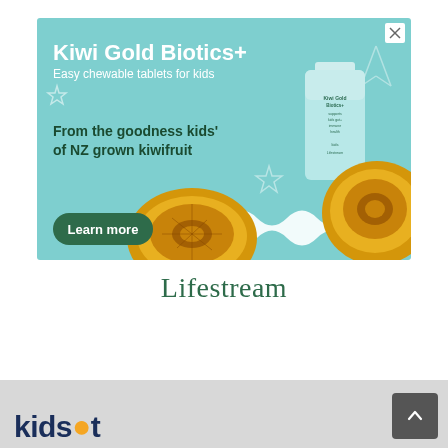[Figure (photo): Advertisement banner for Kiwi Gold Biotics+ chewable tablets for kids by Lifestream. Light teal/mint background with product bottle, kiwi fruits, decorative stars and wave ribbon. Text: 'Kiwi Gold Biotics+ Easy chewable tablets for kids', 'From the goodness of NZ grown kiwifruit', 'kids'', 'Learn more' button. Close X button in top right corner.]
Lifestream
kidspot